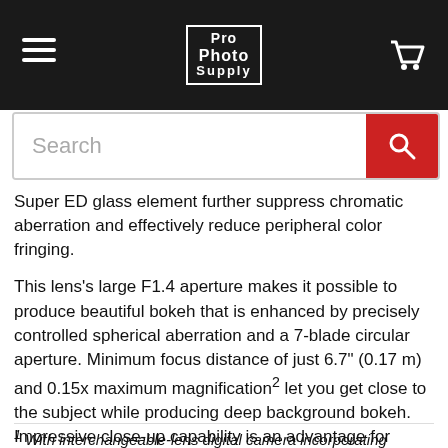[Figure (logo): Pro Photo Supply logo in white on black header bar with hamburger menu on left and shopping cart icon on right]
[Figure (screenshot): Search bar with red search button]
Super ED glass element further suppress chromatic aberration and effectively reduce peripheral color fringing.
This lens's large F1.4 aperture makes it possible to produce beautiful bokeh that is enhanced by precisely controlled spherical aberration and a 7-blade circular aperture. Minimum focus distance of just 6.7" (0.17 m) and 0.15x maximum magnification² let you get close to the subject while producing deep background bokeh. Impressive close-up capability is an advantage for movies as well as stills.
¹ With interchangeable-lens digital camera incorporating